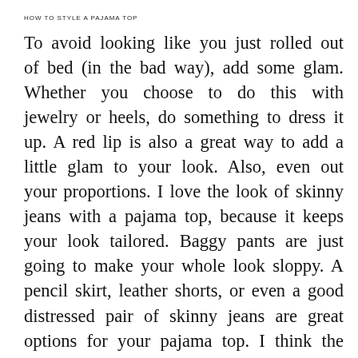HOW TO STYLE A PAJAMA TOP
To avoid looking like you just rolled out of bed (in the bad way), add some glam. Whether you choose to do this with jewelry or heels, do something to dress it up. A red lip is also a great way to add a little glam to your look. Also, even out your proportions. I love the look of skinny jeans with a pajama top, because it keeps your look tailored. Baggy pants are just going to make your whole look sloppy. A pencil skirt, leather shorts, or even a good distressed pair of skinny jeans are great options for your pajama top. I think the matching pajama style co-ords are best left to the pros either on or alongside the runways, but if you do choose to